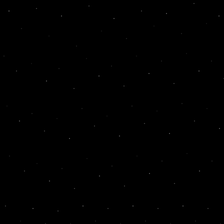| Review Date | Game Type | Map | Rating | Downloads |
| --- | --- | --- | --- | --- |
| 01/24/2006 | 1vs1 | Coast to Coast | 10 | 810 |
| Player 1 |  | N_Monsterer |  |  |
| Player 2 |  | n1_R4cTiee |  |  |
| Game Name | Reviewer |
| --- | --- |
| Tight Game On The Cold Place | BLFIZ_Molloy |
| Review Date | Game Type | Map | Rating | Downloads |
| 01/25/2006 | 1vs1 | The Cold Place | 9 | 150 |
| Player 1 |  | N_NightShade |  |  |
| Player 2 |  | TNT_Tibo |  |  |
Pages: 1 2 3 4 5 6 7 8 9 10 11 12 13 14 15 16 17 18 19 20 21 22 23 24 25 26 27 28 29 30 31 32 33 34 35 36 37 38 39 40 41 42 43 44 45 46 47 48 49 50 51 52 53 54 55 56 57 58 59 60 61 62 63 64 65 66 67 68 69 70 71 72 73 74 75 76 77 78 79